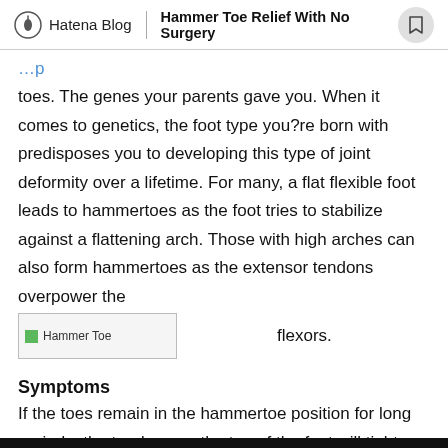Hatena Blog | Hammer Toe Relief With No Surgery
toes. The genes your parents gave you. When it comes to genetics, the foot type you?re born with predisposes you to developing this type of joint deformity over a lifetime. For many, a flat flexible foot leads to hammertoes as the foot tries to stabilize against a flattening arch. Those with high arches can also form hammertoes as the extensor tendons overpower the flexors.
[Figure (photo): Hammer Toe image placeholder]
Symptoms
If the toes remain in the hammertoe position for long periods, the tendons on the top of the foot will tighten over time because they are not stretched to their full